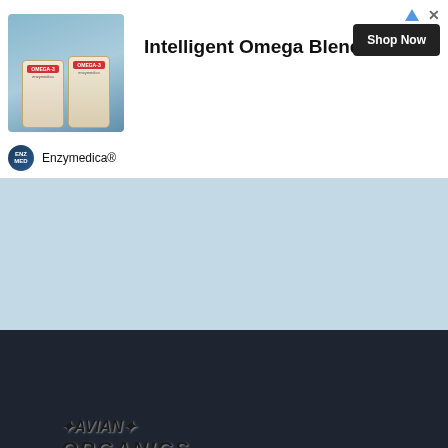[Figure (screenshot): Advertisement banner for Enzymedica Intelligent Omega Blend product with product photo, headline, Shop Now button, and brand logo]
[Figure (photo): Avian Organics promotional banner image showing parrots, fruits, vegetables and organic products]
< Poicephalus Place
TERMS AND RULES  PRIVACY POLICY  HELP  [RSS icon]
[Figure (screenshot): Avian Avenue forum logo banner with colorful parrots and site title in stylized text]
Forum software by XenForo® © 2010-2020 XenForo Ltd.